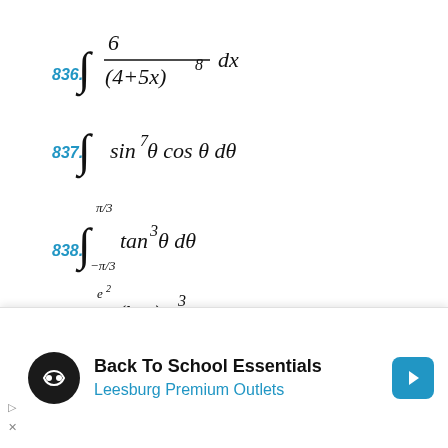[Figure (other): Advertisement banner: Back To School Essentials - Leesburg Premium Outlets with navigation arrow icon]